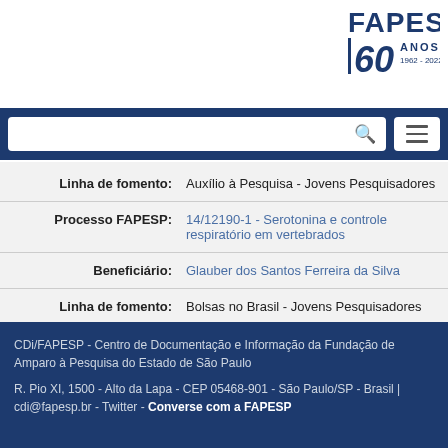[Figure (logo): FAPESP 60 ANOS 1962-2022 logo with blue text and large stylized 60]
[Figure (screenshot): Search bar with magnifying glass icon and hamburger menu button on dark blue background]
| Linha de fomento: | Auxílio à Pesquisa - Jovens Pesquisadores |
| Processo FAPESP: | 14/12190-1 - Serotonina e controle respiratório em vertebrados |
| Beneficiário: | Glauber dos Santos Ferreira da Silva |
| Linha de fomento: | Bolsas no Brasil - Jovens Pesquisadores |
CDi/FAPESP - Centro de Documentação e Informação da Fundação de Amparo à Pesquisa do Estado de São Paulo
R. Pio XI, 1500 - Alto da Lapa - CEP 05468-901 - São Paulo/SP - Brasil | cdi@fapesp.br - Twitter - Converse com a FAPESP